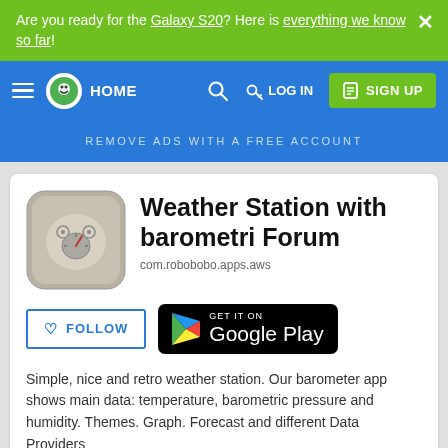Are you ready for the Galaxy S20? Here is everything we know so far!
HOME  LOG IN  SIGN UP
REMOVE ADS WITH A FREE ACCOUNT
Weather Station with barometri Forum
com.robobobo.apps.aws
FOLLOW
[Figure (screenshot): GET IT ON Google Play button]
Simple, nice and retro weather station. Our barometer app shows main data: temperature, barometric pressure and humidity. Themes. Graph. Forecast and different Data Providers